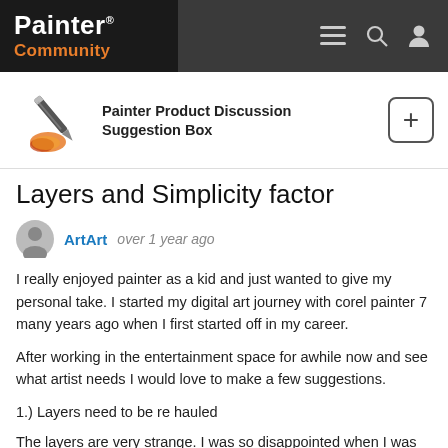Painter Community
[Figure (logo): Painter Community logo with stylized pen/brush icon]
Painter Product Discussion
Suggestion Box
Layers and Simplicity factor
ArtArt  over 1 year ago
I really enjoyed painter as a kid and just wanted to give my personal take. I started my digital art journey with corel painter 7 many years ago when I first started off in my career.
After working in the entertainment space for awhile now and see what artist needs I would love to make a few suggestions.
1.) Layers need to be re hauled
The layers are very strange. I was so disappointed when I was